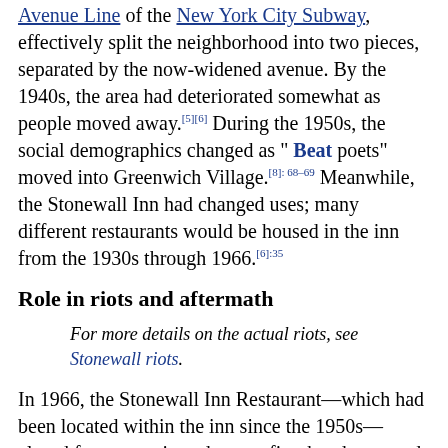Avenue Line of the New York City Subway, effectively split the neighborhood into two pieces, separated by the now-widened avenue. By the 1940s, the area had deteriorated somewhat as people moved away.[5][6] During the 1950s, the social demographics changed as " Beat poets" moved into Greenwich Village.[8]:68–69 Meanwhile, the Stonewall Inn had changed uses; many different restaurants would be housed in the inn from the 1930s through 1966.[6]:35
Role in riots and aftermath
For more details on the actual riots, see Stonewall riots.
In 1966, the Stonewall Inn Restaurant—which had been located within the inn since the 1950s—closed for renovations due to a fire that devastated the space. The restaurant re-